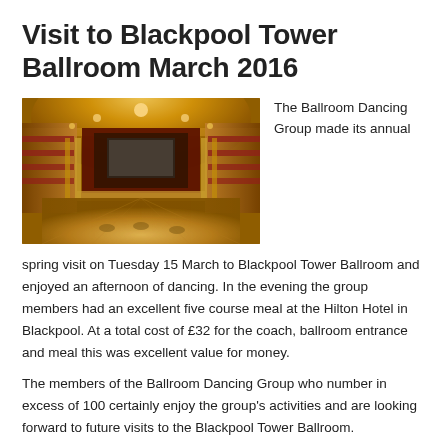Visit to Blackpool Tower Ballroom March 2016
[Figure (photo): Interior panoramic view of the Blackpool Tower Ballroom showing ornate golden decor, tiered balconies with red seating, a stage at the far end, and a large wooden dance floor lit by chandeliers.]
The Ballroom Dancing Group made its annual spring visit on Tuesday 15 March to Blackpool Tower Ballroom and enjoyed an afternoon of dancing. In the evening the group members had an excellent five course meal at the Hilton Hotel in Blackpool. At a total cost of £32 for the coach, ballroom entrance and meal this was excellent value for money.
The members of the Ballroom Dancing Group who number in excess of 100 certainly enjoy the group's activities and are looking forward to future visits to the Blackpool Tower Ballroom.